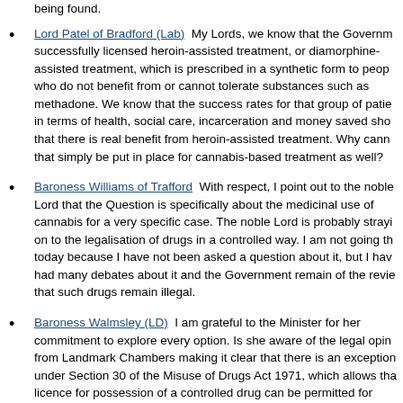being found.
Lord Patel of Bradford (Lab)  My Lords, we know that the Government successfully licensed heroin-assisted treatment, or diamorphine-assisted treatment, which is prescribed in a synthetic form to people who do not benefit from or cannot tolerate substances such as methadone. We know that the success rates for that group of patients in terms of health, social care, incarceration and money saved show that there is real benefit from heroin-assisted treatment. Why cannot that simply be put in place for cannabis-based treatment as well?
Baroness Williams of Trafford  With respect, I point out to the noble Lord that the Question is specifically about the medicinal use of cannabis for a very specific case. The noble Lord is probably straying on to the legalisation of drugs in a controlled way. I am not going there today because I have not been asked a question about it, but I have had many debates about it and the Government remain of the review that such drugs remain illegal.
Baroness Walmsley (LD)  I am grateful to the Minister for her commitment to explore every option. Is she aware of the legal opinion from Landmark Chambers making it clear that there is an exception under Section 30 of the Misuse of Drugs Act 1971, which allows that a licence for possession of a controlled drug can be permitted for medical purposes? Will she make use of that exception to save this